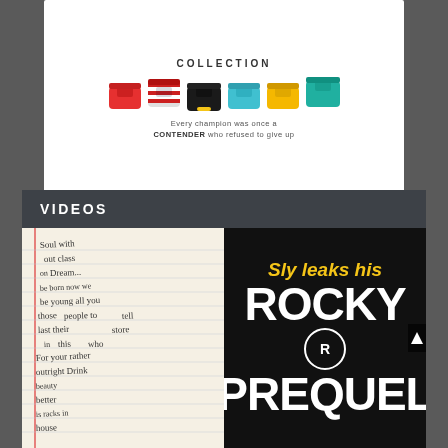[Figure (photo): Advertisement card showing colorful boxer briefs/underwear collection with text 'COLLECTION' at top and tagline 'Every champion was once a CONTENDER who refused to give up']
VIDEOS
[Figure (photo): Left video thumbnail showing handwritten notes on lined paper with red margin line]
[Figure (photo): Right video thumbnail with black background and text 'Sly leaks his ROCKY PREQUEL' in yellow and white bold text with Rocky figure circle logo]